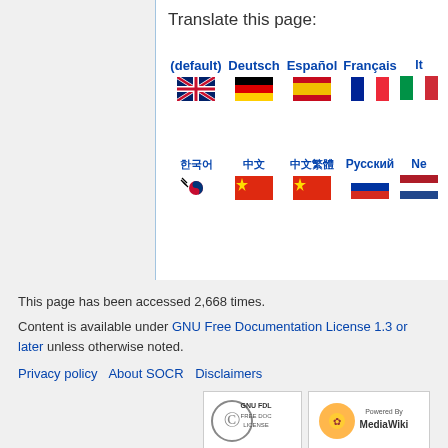Translate this page:
[Figure (infographic): Language selection widget with flags for (default)/English, Deutsch/German, Español/Spanish, Français/French, and second row: Korean, Chinese, Chinese, Русский, Ned...]
This page has been accessed 2,668 times.
Content is available under GNU Free Documentation License 1.3 or later unless otherwise noted.
Privacy policy · About SOCR · Disclaimers
[Figure (logo): GNU FDL Free Doc License badge and Powered by MediaWiki badge]